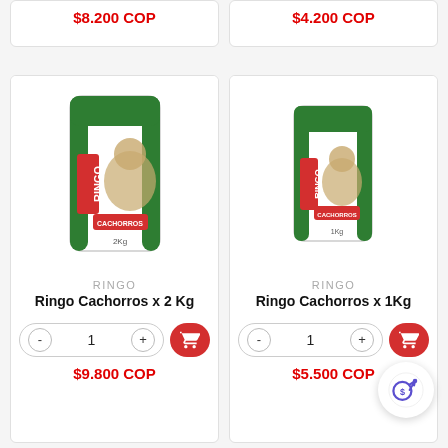$8.200 COP
$4.200 COP
[Figure (photo): Ringo Cachorros dog food bag 2kg - green and white bag with puppy image]
RINGO
Ringo Cachorros x 2 Kg
$9.800 COP
[Figure (photo): Ringo Cachorros dog food bag 1kg - green and white bag with puppy image]
RINGO
Ringo Cachorros x 1Kg
$5.500 COP